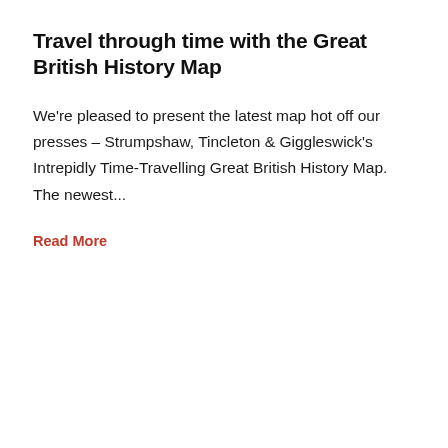Travel through time with the Great British History Map
We're pleased to present the latest map hot off our presses – Strumpshaw, Tincleton & Giggleswick's Intrepidly Time-Travelling Great British History Map. The newest...
Read More